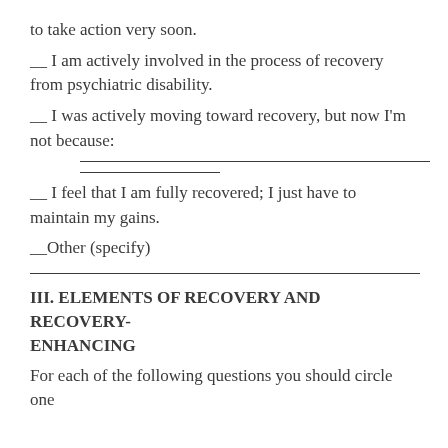to take action very soon.
__ I am actively involved in the process of recovery from psychiatric disability.
__ I was actively moving toward recovery, but now I'm not because:
__ I feel that I am fully recovered; I just have to maintain my gains.
__Other (specify)
III. ELEMENTS OF RECOVERY AND RECOVERY-ENHANCING
For each of the following questions you should circle one